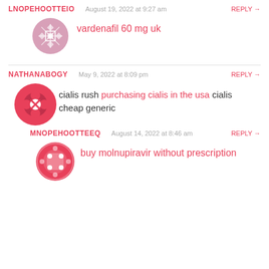LNOPEHOOTTEIO — August 19, 2022 at 9:27 am — REPLY →
vardenafil 60 mg uk
NATHANABOGY — May 9, 2022 at 8:09 pm — REPLY →
cialis rush purchasing cialis in the usa cialis cheap generic
MNOPEHOOTTEEQ — August 14, 2022 at 8:46 am — REPLY →
buy molnupiravir without prescription